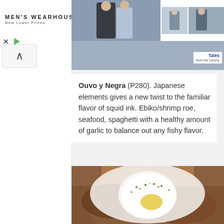[Figure (screenshot): Advertisement banner for Men's Wearhouse showing wedding couple and suit-wearing figures, with logo and 'New Lower Prices' text]
[Figure (screenshot): Partial image strip at top of content area, with 'Tales from the Tummy' badge visible in top right]
Ouvo y Negra (P280). Japanese elements gives a new twist to the familiar flavor of squid ink. Ebiko/shrimp roe, seafood, spaghetti with a healthy amount of garlic to balance out any fishy flavor.
[Figure (photo): Close-up food photo of a dish on a white plate featuring what appears to be a poached egg on top of a meat-based mixture, garnished with green herbs and orange bits]